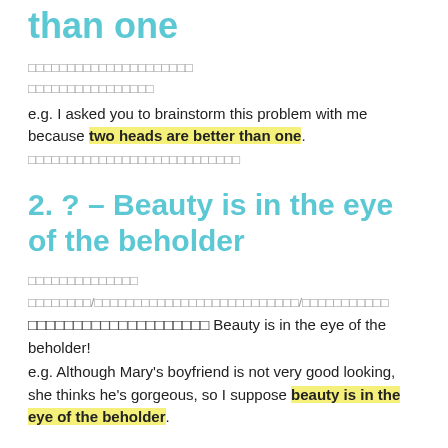than one
□□□□□□□□□□□□□□□□□□□□□
□□□□□□□□□□□□□□□□
e.g. I asked you to brainstorm this problem with me because two heads are better than one.
□□□□□□□□□□□□□□□□□□□□□□□□□□□
2. ? – Beauty is in the eye of the beholder
□□□□□□□□□□□□□□
□□□□□□□□/□□□□□□□□□□□□□□□□□□□□□□□□□□/□□□□□□□□□□□
□□□□□□□□□□□□□□□□□□□□ Beauty is in the eye of the beholder!
e.g. Although Mary's boyfriend is not very good looking, she thinks he's gorgeous, so I suppose beauty is in the eye of the beholder.